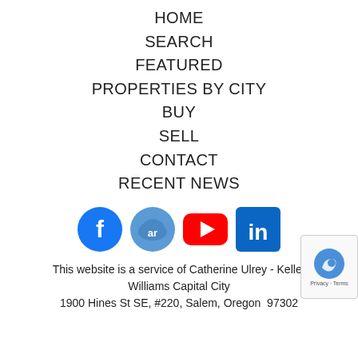HOME
SEARCH
FEATURED
PROPERTIES BY CITY
BUY
SELL
CONTACT
RECENT NEWS
[Figure (logo): Row of four social media icons: Facebook (blue circle with f), AR (blue cloud with 'ar'), YouTube (red rectangle with play button), LinkedIn (blue square with 'in')]
This website is a service of Catherine Ulrey - Keller Williams Capital City
1900 Hines St SE, #220, Salem, Oregon  97302